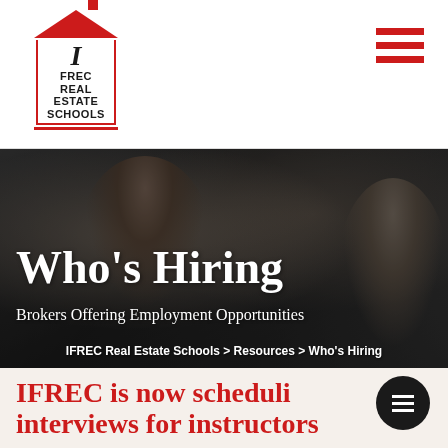IFREC Real Estate Schools — navigation header with logo and hamburger menu
[Figure (photo): Two people having a job interview or consultation across a table, woman with glasses on left, man seen from behind on right, dark overlay applied]
Who's Hiring
Brokers Offering Employment Opportunities
IFREC Real Estate Schools > Resources > Who's Hiring
IFREC is now scheduling interviews for instructors